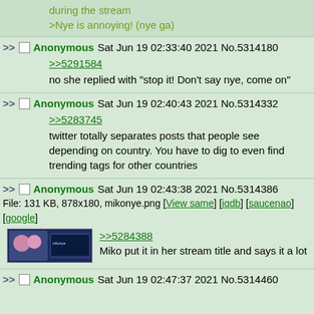during the stream
>Nye is annoying! (nye ga)
Anonymous Sat Jun 19 02:33:40 2021 No.5314180
>>5291584
no she replied with "stop it! Don't say nye, come on"
Anonymous Sat Jun 19 02:40:43 2021 No.5314332
>>5283745
twitter totally separates posts that people see depending on country. You have to dig to even find trending tags for other countries
Anonymous Sat Jun 19 02:43:38 2021 No.5314386
File: 131 KB, 878x180, mikonye.png [View same] [iqdb] [saucenao] [google]
>>5284388
Miko put it in her stream title and says it a lot
Anonymous Sat Jun 19 02:47:37 2021 No.5314460